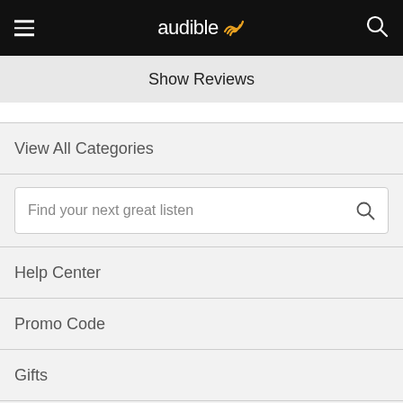audible
Show Reviews
View All Categories
Find your next great listen
Help Center
Promo Code
Gifts
Conditions of Use | Privacy Policy | Interest-Based Ads |